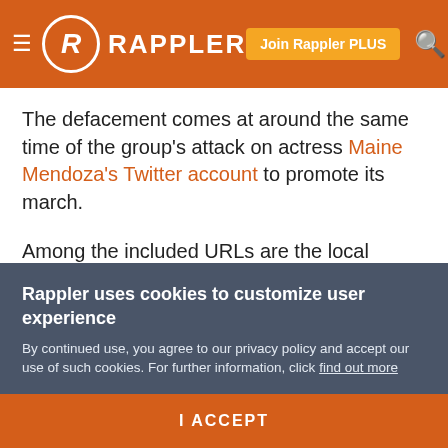RAPPLER — Navigation header with logo, Join Rappler PLUS button, and search icon
The defacement comes at around the same time of the group's attack on actress Maine Mendoza's Twitter account to promote its march.
Among the included URLs are the local websites for Iloilo, Butuan, and Zamboanga del Sur, as well as some minor pages for the Department of Health.
The group previously defaced the page of the National
Rappler uses cookies to customize user experience
By continued use, you agree to our privacy policy and accept our use of such cookies. For further information, click find out more
I ACCEPT